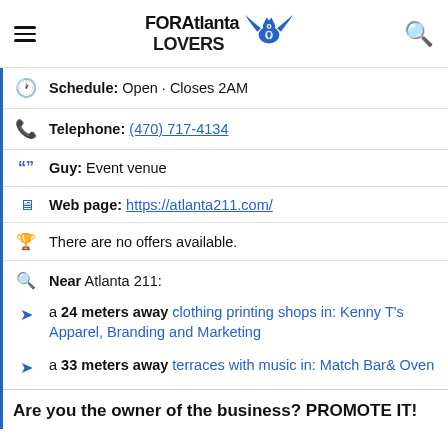FORAtlanta LOVERS
Schedule: Open · Closes 2AM
Telephone: (470) 717-4134
Guy: Event venue
Web page: https://atlanta211.com/
There are no offers available.
Near Atlanta 211:
a 24 meters away clothing printing shops in: Kenny T's Apparel, Branding and Marketing
a 33 meters away terraces with music in: Match Bar& Oven
Are you the owner of the business? PROMOTE IT!